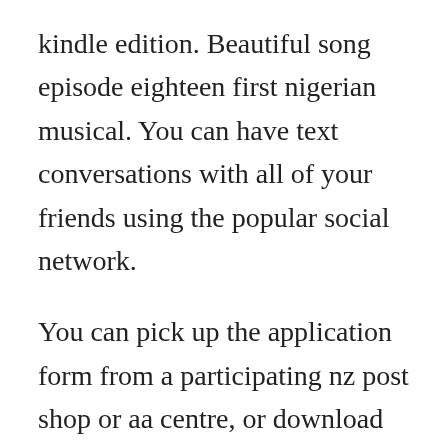kindle edition. Beautiful song episode eighteen first nigerian musical. You can have text conversations with all of your friends using the popular social network.
You can pick up the application form from a participating nz post shop or aa centre, or download the form below. Latest version kodi 18 download and installation steps 17 aug 17. Pale waves eighteen live on late night with seth meyers. Download cumulative update 18 for microsoft dynamics nav. The download links above will attempt to download gimp